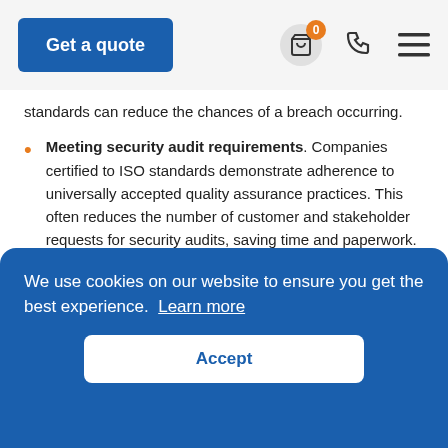Get a quote
standards can reduce the chances of a breach occurring.
Meeting security audit requirements. Companies certified to ISO standards demonstrate adherence to universally accepted quality assurance practices. This often reduces the number of customer and stakeholder requests for security audits, saving time and paperwork.
expanding your global footprint. These standards are universally recognised and trusted by companies all over the world. Adhering to these standards can help you gain new global clients and international business partners.
We use cookies on our website to ensure you get the best experience. Learn more
Accept